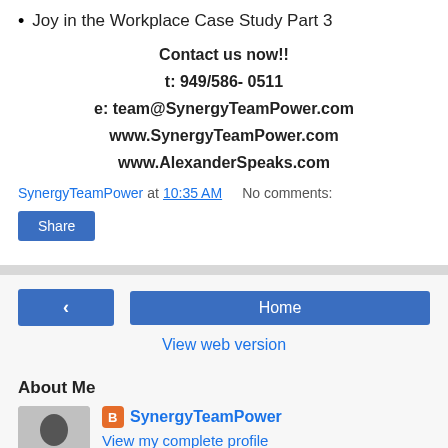Joy in the Workplace Case Study Part 3
Contact us now!!
t: 949/586- 0511
e: team@SynergyTeamPower.com
www.SynergyTeamPower.com
www.AlexanderSpeaks.com
SynergyTeamPower at 10:35 AM    No comments:
Share
< Home View web version
About Me
SynergyTeamPower
View my complete profile